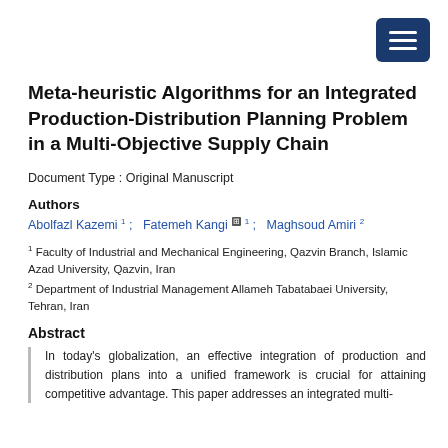[Figure (other): Dark blue hamburger menu button in top right corner]
Meta-heuristic Algorithms for an Integrated Production-Distribution Planning Problem in a Multi-Objective Supply Chain
Document Type : Original Manuscript
Authors
Abolfazl Kazemi 1 ;   Fatemeh Kangi ⊞ 1 ;   Maghsoud Amiri 2
1 Faculty of Industrial and Mechanical Engineering, Qazvin Branch, Islamic Azad University, Qazvin, Iran
2 Department of Industrial Management Allameh Tabatabaei University, Tehran, Iran
Abstract
In today's globalization, an effective integration of production and distribution plans into a unified framework is crucial for attaining competitive advantage. This paper addresses an integrated multi-